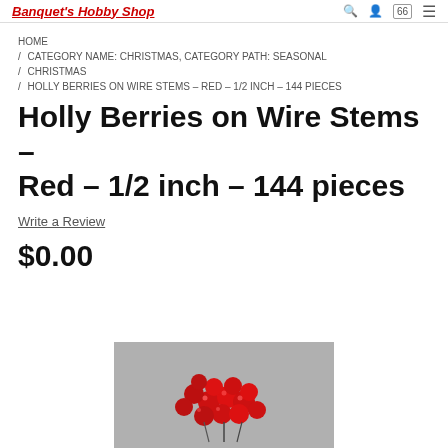Banquet's Hobby Shop
HOME / CATEGORY NAME: CHRISTMAS, CATEGORY PATH: SEASONAL / CHRISTMAS / HOLLY BERRIES ON WIRE STEMS – RED – 1/2 INCH – 144 PIECES
Holly Berries on Wire Stems – Red – 1/2 inch – 144 pieces
Write a Review
$0.00
[Figure (photo): Red holly berries on wire stems arranged in a cluster on a gray surface]